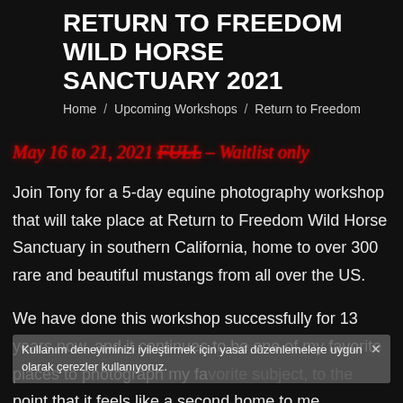RETURN TO FREEDOM WILD HORSE SANCTUARY 2021
Home / Upcoming Workshops / Return to Freedom
May 16 to 21, 2021 FULL – Waitlist only
Join Tony for a 5-day equine photography workshop that will take place at Return to Freedom Wild Horse Sanctuary in southern California, home to over 300 rare and beautiful mustangs from all over the US.
We have done this workshop successfully for 13 years now, and it continues to be one of my favorite places to photograph my favorite subject, to the point that it feels like a second home to me.
Kullanım deneyiminizi iyileştirmek için yasal düzenlemelere uygun olarak çerezler kullanıyoruz.